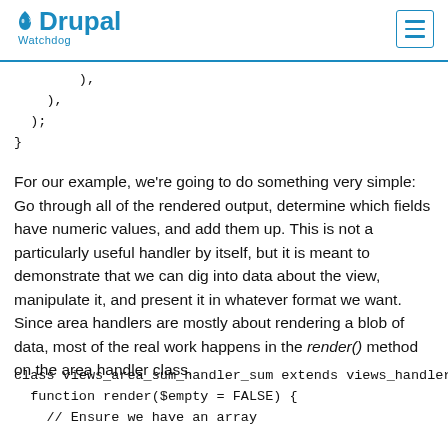Drupal Watchdog
),
  ),
);
}
For our example, we're going to do something very simple: Go through all of the rendered output, determine which fields have numeric values, and add them up. This is not a particularly useful handler by itself, but it is meant to demonstrate that we can dig into data about the view, manipulate it, and present it in whatever format we want. Since area handlers are mostly about rendering a blob of data, most of the real work happens in the render() method on the area handler class.
class views_area_sum_handler_sum extends views_handler_area {
  function render($empty = FALSE) {
    // Ensure we have an array